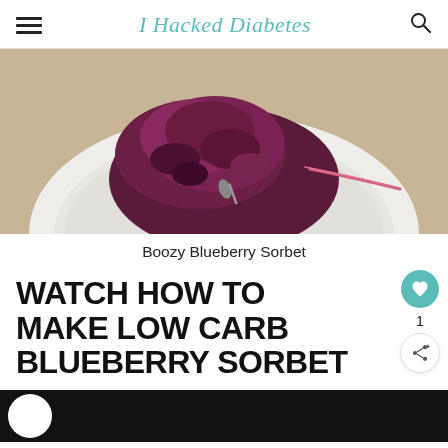I Hacked Diabetes
[Figure (photo): Close-up photo of a scoop of dark purple blueberry sorbet in a white bowl, with a spoon, on a beige surface.]
Boozy Blueberry Sorbet
WATCH HOW TO MAKE LOW CARB BLUEBERRY SORBET
[Figure (screenshot): Bottom edge of a dark video thumbnail with a white circular play area on the left.]